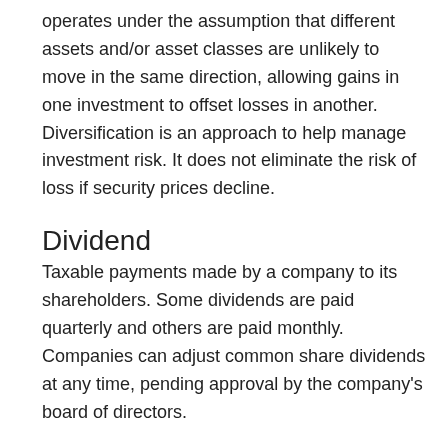operates under the assumption that different assets and/or asset classes are unlikely to move in the same direction, allowing gains in one investment to offset losses in another. Diversification is an approach to help manage investment risk. It does not eliminate the risk of loss if security prices decline.
Dividend
Taxable payments made by a company to its shareholders. Some dividends are paid quarterly and others are paid monthly. Companies can adjust common share dividends at any time, pending approval by the company’s board of directors.
Dollar-Cost Averaging
An investment strategy under which a fixed dollar amount of securities is purchased at regular intervals. Under dollar-cost averaging, more shares are purchased when prices are low and fewer shares when prices rise. Keep in mind that dollar-cost averaging does not protect